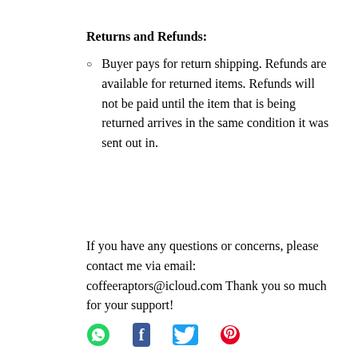Returns and Refunds:
Buyer pays for return shipping. Refunds are available for returned items. Refunds will not be paid until the item that is being returned arrives in the same condition it was sent out in.
If you have any questions or concerns, please contact me via email: coffeeraptors@icloud.com Thank you so much for your support!
[Figure (illustration): Social media icons: WhatsApp (green), Facebook (dark), Twitter (blue), Pinterest (pink/red)]